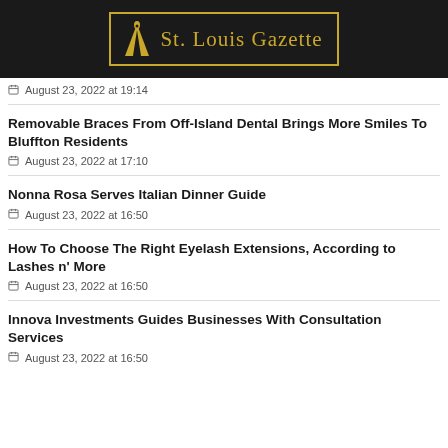St. Louis Gazette
August 23, 2022 at 19:14
Removable Braces From Off-Island Dental Brings More Smiles To Bluffton Residents
August 23, 2022 at 17:10
Nonna Rosa Serves Italian Dinner Guide
August 23, 2022 at 16:50
How To Choose The Right Eyelash Extensions, According to Lashes n' More
August 23, 2022 at 16:50
Innova Investments Guides Businesses With Consultation Services
August 23, 2022 at 16:50